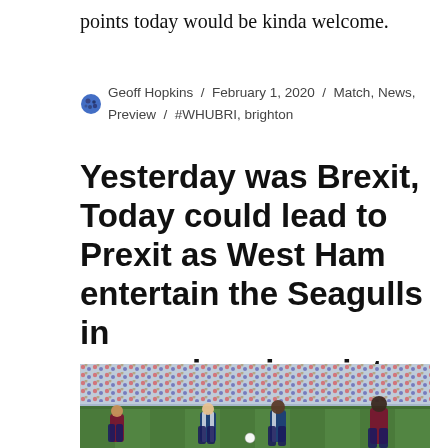points today would be kinda welcome.
Geoff Hopkins / February 1, 2020 / Match, News, Preview / #WHUBRI, brighton
Yesterday was Brexit, Today could lead to Prexit as West Ham entertain the Seagulls in a massive six pointer
[Figure (photo): Football match photo showing players on a pitch with a large crowd in the background]